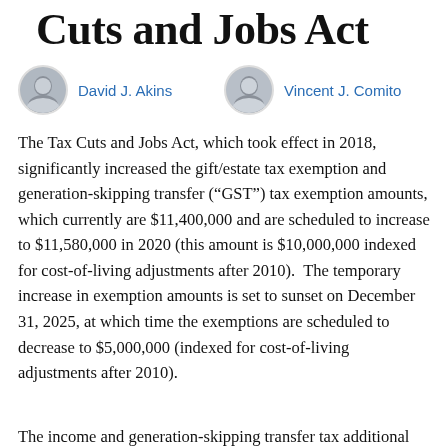Cuts and Jobs Act
David J. Akins   Vincent J. Comito
The Tax Cuts and Jobs Act, which took effect in 2018, significantly increased the gift/estate tax exemption and generation-skipping transfer (“GST”) tax exemption amounts, which currently are $11,400,000 and are scheduled to increase to $11,580,000 in 2020 (this amount is $10,000,000 indexed for cost-of-living adjustments after 2010).  The temporary increase in exemption amounts is set to sunset on December 31, 2025, at which time the exemptions are scheduled to decrease to $5,000,000 (indexed for cost-of-living adjustments after 2010).
The income and generation-skipping transfer tax additional